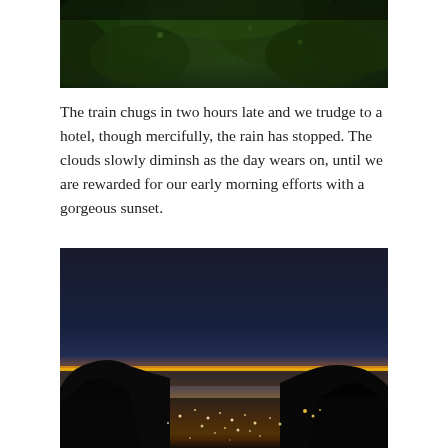[Figure (photo): A dark photograph showing dense green foliage and trees, cropped at the top of the page.]
The train chugs in two hours late and we trudge to a hotel, though mercifully, the rain has stopped. The clouds slowly diminsh as the day wears on, until we are rewarded for our early morning efforts with a gorgeous sunset.
[Figure (photo): A dramatic sunset photograph showing a deep orange and yellow glow on the horizon beneath a dark blue-grey sky, with silhouetted hills and city lights visible below.]